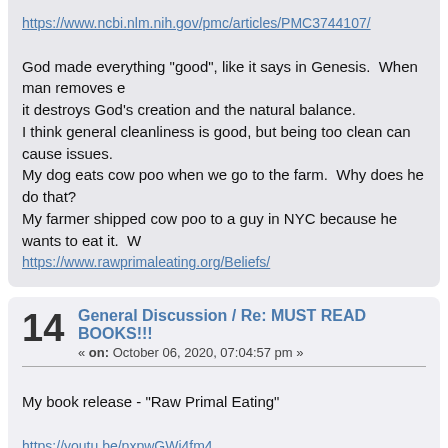https://www.ncbi.nlm.nih.gov/pmc/articles/PMC3744107/
God made everything "good", like it says in Genesis.  When man removes it it destroys God's creation and the natural balance.
I think general cleanliness is good, but being too clean can cause issues.
My dog eats cow poo when we go to the farm.  Why does he do that?
My farmer shipped cow poo to a guy in NYC because he wants to eat it.  W
https://www.rawprimaleating.org/Beliefs/
14   General Discussion / Re: MUST READ BOOKS!!!
« on: October 06, 2020, 07:04:57 pm »
My book release - "Raw Primal Eating"
https://youtu.be/pxpwGWj4fm4
15   General Discussion / Re: Tapeworms
« on: October 06, 2020, 07:03:05 pm »
I think he had a lot of toxins at that point and wanted it to eat them up quick